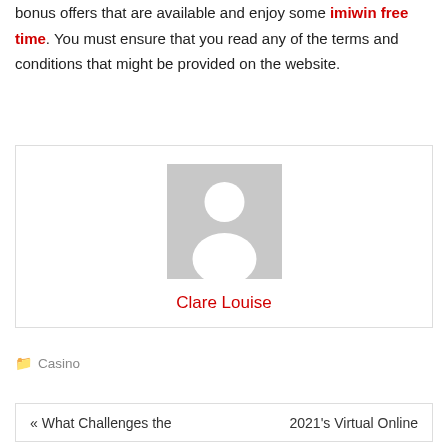bonus offers that are available and enjoy some imiwin free time. You must ensure that you read any of the terms and conditions that might be provided on the website.
[Figure (photo): Default avatar/placeholder image showing a silhouette of a person (head and shoulders) in white on a grey background.]
Clare Louise
Casino
« What Challenges the    2021's Virtual Online